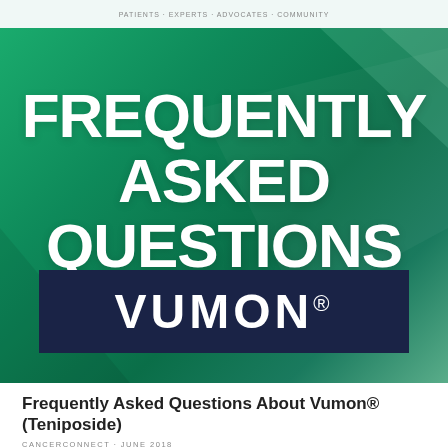PATIENTS · EXPERTS · ADVOCATES · COMMUNITY
FREQUENTLY ASKED QUESTIONS
[Figure (logo): Vumon® brand name displayed in white bold text on a dark navy blue rectangular background]
Frequently Asked Questions About Vumon® (Teniposide)
CANCERCONNECT · JUNE 2018